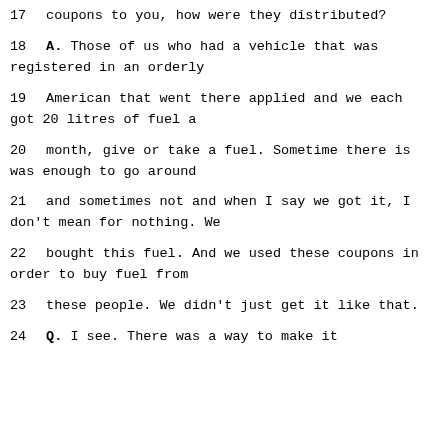17      coupons to you, how were they distributed?
18      A.   Those of us who had a vehicle that was registered in an orderly
19      American that went there applied and we each got 20 litres of fuel a
20      month, give or take a fuel.  Sometime there is was enough to go around
21      and sometimes not and when I say we got it, I don't mean for nothing.  We
22      bought this fuel.  And we used these coupons in order to buy fuel from
23      these people.  We didn't just get it like that.
24      Q.   I see.  There was a way to make it